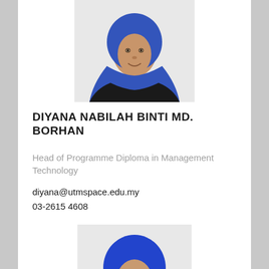[Figure (photo): Headshot photo of Diyana Nabilah Binti Md. Borhan wearing a blue hijab and black blazer over a blue top, smiling at camera.]
DIYANA NABILAH BINTI MD. BORHAN
Head of Programme Diploma in Management Technology
diyana@utmspace.edu.my
03-2615 4608
[Figure (photo): Headshot photo of a woman wearing a blue hijab and glasses with a dark blazer, smiling.]